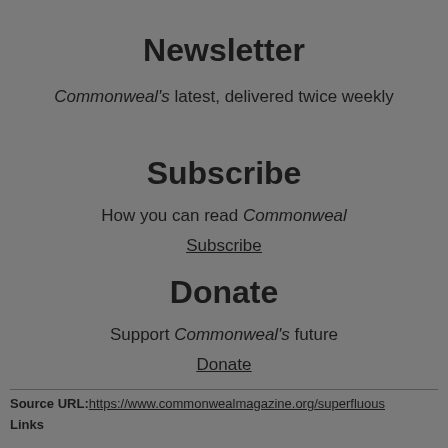Newsletter
Commonweal's latest, delivered twice weekly
Subscribe
How you can read Commonweal
Subscribe
Donate
Support Commonweal's future
Donate
Source URL:https://www.commonwealmagazine.org/superfluous
Links